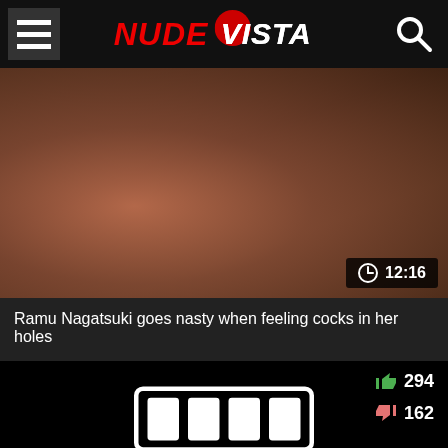NUDE VISTA
[Figure (photo): Video thumbnail showing adult content with a duration badge of 12:16]
Ramu Nagatsuki goes nasty when feeling cocks in her holes
[Figure (screenshot): Second video card with thumbs up 294, thumbs down 162, and a loading animation with bar icon and LOADING text]